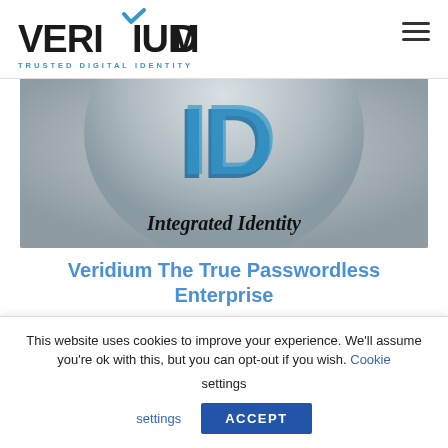[Figure (logo): Veridium logo with checkmark above the I, tagline TRUSTED DIGITAL IDENTITY in blue]
[Figure (photo): Gray circular badge with 3D blue letters 'ID' and italic text 'Integrated Identity' below]
Veridium The True Passwordless Enterprise
Veridium The True Password-less Enterprise In February 2017 when I joined Veridium as
This website uses cookies to improve your experience. We'll assume you're ok with this, but you can opt-out if you wish. Cookie settings ACCEPT